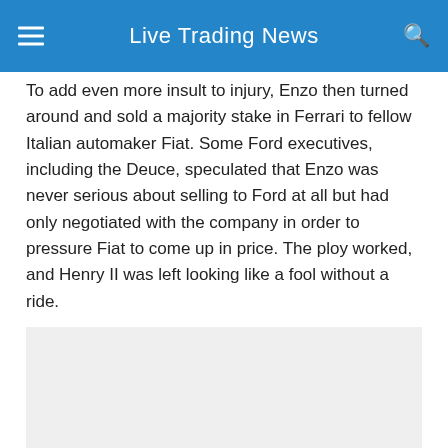Live Trading News
To add even more insult to injury, Enzo then turned around and sold a majority stake in Ferrari to fellow Italian automaker Fiat. Some Ford executives, including the Deuce, speculated that Enzo was never serious about selling to Ford at all but had only negotiated with the company in order to pressure Fiat to come up in price. The ploy worked, and Henry II was left looking like a fool without a ride.
[Figure (photo): Empty light gray placeholder image area]